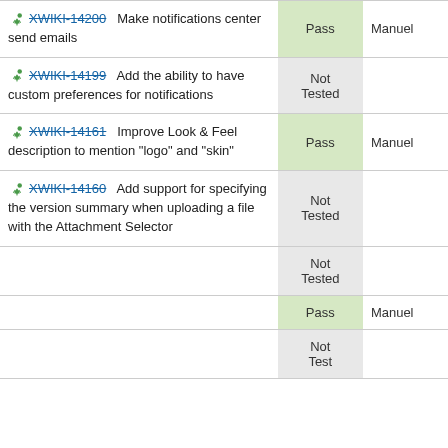| Feature | Status | Tester |
| --- | --- | --- |
| 🏃 XWIKI-14200   Make notifications center send emails | Pass | Manuel |
| 🏃 XWIKI-14199   Add the ability to have custom preferences for notifications | Not Tested |  |
| 🏃 XWIKI-14161   Improve Look & Feel description to mention "logo" and "skin" | Pass | Manuel |
| 🏃 XWIKI-14160   Add support for specifying the version summary when uploading a file with the Attachment Selector | Not Tested |  |
|  | Not Tested |  |
|  | Pass | Manuel |
|  | Not Tested |  |